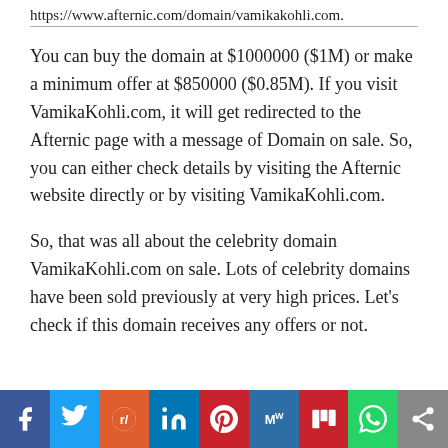https://www.afternic.com/domain/vamikakohli.com.
You can buy the domain at $1000000 ($1M) or make a minimum offer at $850000 ($0.85M). If you visit VamikaKohli.com, it will get redirected to the Afternic page with a message of Domain on sale. So, you can either check details by visiting the Afternic website directly or by visiting VamikaKohli.com.
So, that was all about the celebrity domain VamikaKohli.com on sale. Lots of celebrity domains have been sold previously at very high prices. Let’s check if this domain receives any offers or not.
[Figure (infographic): Social sharing bar with icons: Facebook (blue), Twitter (light blue), Reddit (orange), LinkedIn (dark blue), Pinterest (red), MeWe (blue), Mix (red), WhatsApp (green), Share (grey)]